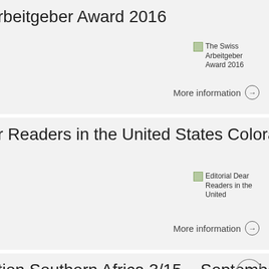arbeitgeber Award 2016
[Figure (photo): The Swiss Arbeitgeber Award 2016 thumbnail image]
More information →
ar Readers in the United States Colorado
[Figure (photo): Editorial Dear Readers in the United States Colorado thumbnail image]
More information →
tion Southern Africa 3/15 – September